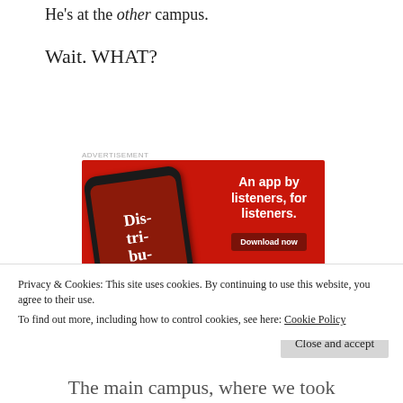He's at the other campus.
Wait. WHAT?
[Figure (advertisement): Red advertisement banner for a podcast app showing a smartphone with 'Dis-tri-buted' podcast playing. Text reads: 'An app by listeners, for listeners.' with a 'Download now' button.]
Privacy & Cookies: This site uses cookies. By continuing to use this website, you agree to their use.
To find out more, including how to control cookies, see here: Cookie Policy
Close and accept
The main campus, where we took